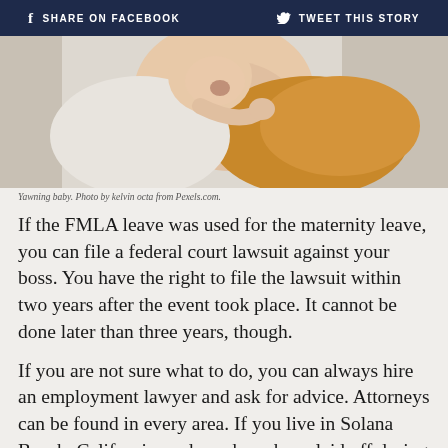f SHARE ON FACEBOOK   🐦 TWEET THIS STORY
[Figure (photo): Close-up photo of a yawning baby, partially wrapped in a golden/orange blanket against a white background.]
Yawning baby. Photo by kelvin octa from Pexels.com.
If the FMLA leave was used for the maternity leave, you can file a federal court lawsuit against your boss. You have the right to file the lawsuit within two years after the event took place. It cannot be done later than three years, though.
If you are not sure what to do, you can always hire an employment lawyer and ask for advice. Attorneys can be found in every area. If you live in Solana Beach, California, and you have been laid off during or after maternity leave, you can reach out to Solana Beach employment layers and get the advice and help you need.